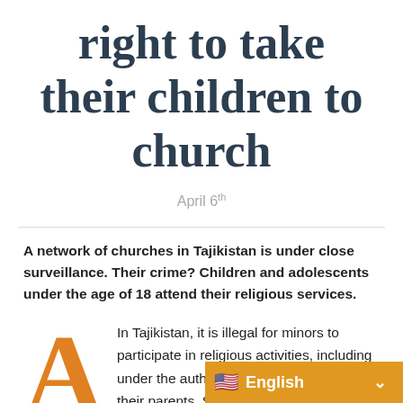right to take their children to church
April 6th
A network of churches in Tajikistan is under close surveillance. Their crime? Children and adolescents under the age of 18 attend their religious services.
In Tajikistan, it is illegal for minors to participate in religious activities, including under the authority and supervision of their parents. Several s…
[Figure (infographic): Language selector banner showing US flag emoji and text 'English' with a dropdown chevron, on an orange/amber background, positioned at bottom right of page.]